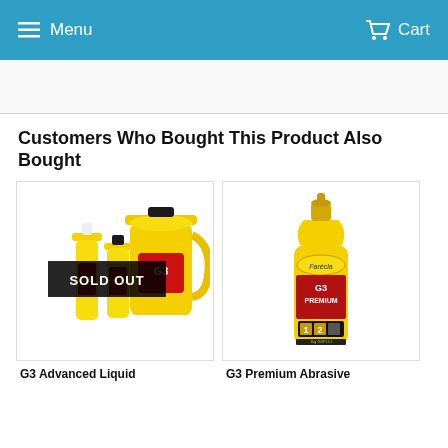Menu  Cart
Customers Who Bought This Product Also Bought
[Figure (photo): G3 Advanced Liquid Compound products in yellow bottles, with SOLD OUT banner overlay]
[Figure (photo): G3 Premium Abrasive product in yellow bottle]
G3 Advanced Liquid
G3 Premium Abrasive